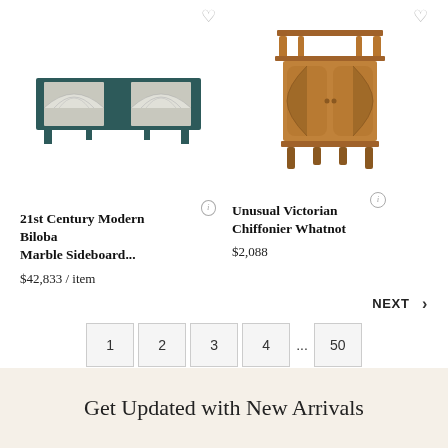[Figure (photo): Green Art Deco sideboard with mirrored arched panels]
[Figure (photo): Victorian wooden chiffonier whatnot cabinet with turned columns and arched doors]
21st Century Modern Biloba Marble Sideboard...
Unusual Victorian Chiffonier Whatnot
$42,833 / item
$2,088
NEXT >
1
2
3
4
...
50
Get Updated with New Arrivals